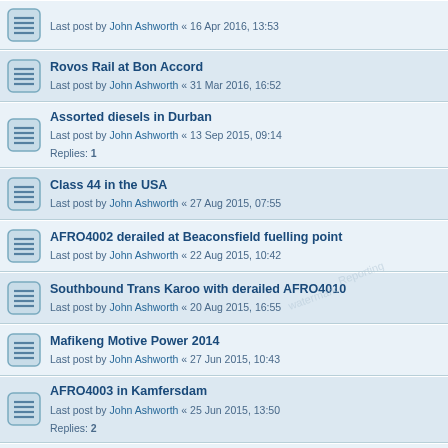Last post by John Ashworth « 16 Apr 2016, 13:53
Rovos Rail at Bon Accord
Last post by John Ashworth « 31 Mar 2016, 16:52
Assorted diesels in Durban
Last post by John Ashworth « 13 Sep 2015, 09:14
Replies: 1
Class 44 in the USA
Last post by John Ashworth « 27 Aug 2015, 07:55
AFRO4002 derailed at Beaconsfield fuelling point
Last post by John Ashworth « 22 Aug 2015, 10:42
Southbound Trans Karoo with derailed AFRO4010
Last post by John Ashworth « 20 Aug 2015, 16:55
Mafikeng Motive Power 2014
Last post by John Ashworth « 27 Jun 2015, 10:43
AFRO4003 in Kamfersdam
Last post by John Ashworth « 25 Jun 2015, 13:50
Replies: 2
Class 37 photos from Wiki.
Last post by Philip Martin « 31 May 2015, 01:02
Transnet Rail Engineering shunter
Last post by John Ashworth « 21 Apr 2015, 21:06
Vossloh AFRO 4000 on RailPictures.Net
Last post by John Ashworth « 13 Apr 2015, 06:25